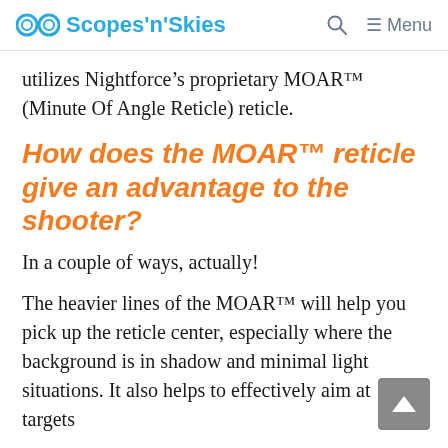Scopes'n'Skies | Search | Menu
utilizes Nightforce’s proprietary MOAR™ (Minute Of Angle Reticle) reticle.
How does the MOAR™ reticle give an advantage to the shooter?
In a couple of ways, actually!
The heavier lines of the MOAR™ will help you pick up the reticle center, especially where the background is in shadow and minimal light situations. It also helps to effectively aim at targets